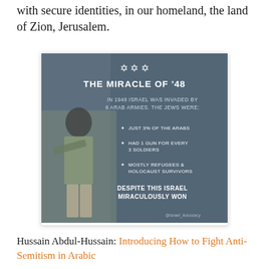with secure identities, in our homeland, the land of Zion, Jerusalem.
[Figure (infographic): An infographic titled 'THE MIRACLE OF '48' with a dark blue-grey background. It shows a photo of a female soldier and text listing statistics about the 1948 Arab-Israeli War: 'IN 1948 ISRAEL WAS INVADED BY 8 ARAB ARMIES. THE JEWS WERE: JUST 3% OF THE ARABS, HAD 1 GUN FOR EVERY 3 SOLDIERS, MOSTLY REFUGEES & HOLOCAUST SURVIVORS. DESPITE THIS ISRAEL MIRACULOUSLY WON.' Credit: @Israel_Advocacy]
Hussain Abdul-Hussain: Introducing How to Fight Anti-Semitism in Arabic